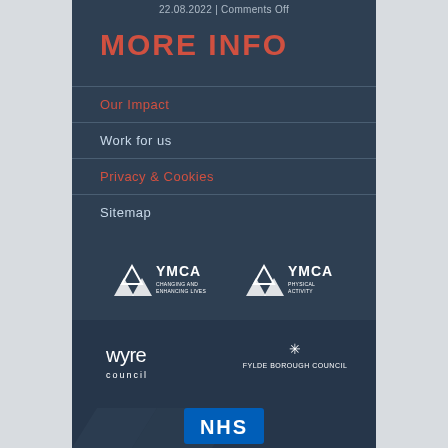22.08.2022 | Comments Off
MORE INFO
Our Impact
Work for us
Privacy & Cookies
Sitemap
[Figure (logo): YMCA Changing and Enhancing Lives logo (white on dark)]
[Figure (logo): YMCA Physical Activity logo (white on dark)]
[Figure (logo): Wyre Council logo (white on dark)]
[Figure (logo): Fylde Borough Council logo (white on dark)]
[Figure (logo): NHS logo (blue and white)]